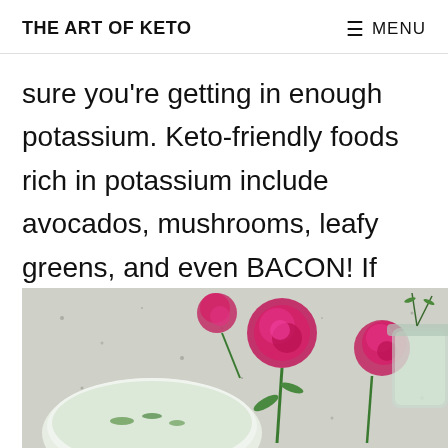THE ART OF KETO   ☰ MENU
sure you're getting in enough potassium. Keto-friendly foods rich in potassium include avocados, mushrooms, leafy greens, and even BACON! If you haven't tried Pederson farms bacon, I'd highly recommend it.
[Figure (photo): Photo of a bowl of soup garnished with herbs, with pink carnation flowers and a glass jar in the background on a speckled granite surface.]